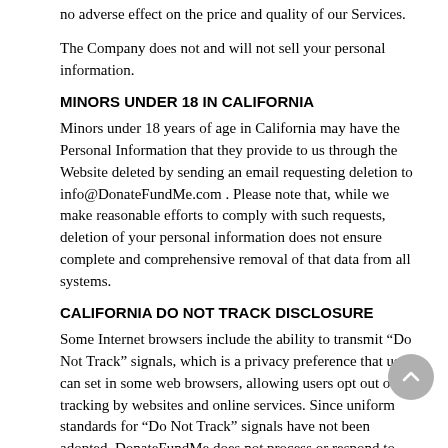no adverse effect on the price and quality of our Services.
The Company does not and will not sell your personal information.
MINORS UNDER 18 IN CALIFORNIA
Minors under 18 years of age in California may have the Personal Information that they provide to us through the Website deleted by sending an email requesting deletion to info@DonateFundMe.com . Please note that, while we make reasonable efforts to comply with such requests, deletion of your personal information does not ensure complete and comprehensive removal of that data from all systems.
CALIFORNIA DO NOT TRACK DISCLOSURE
Some Internet browsers include the ability to transmit “Do Not Track” signals, which is a privacy preference that users can set in some web browsers, allowing users opt out of tracking by websites and online services. Since uniform standards for “Do Not Track” signals have not been adopted, DonateFundMe does not process or respond to “Do Not Track” signals.
8. PRIVACY INFORMATION FOR